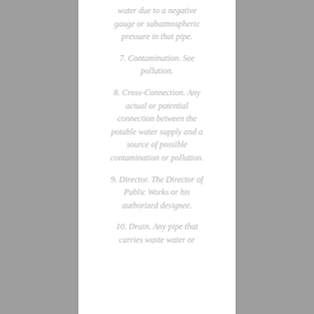water due to a negative gauge or subatmospheric pressure in that pipe.
7. Contamination. See pollution.
8. Cross-Connection. Any actual or potential connection between the potable water supply and a source of possible contamination or pollution.
9. Director. The Director of Public Works or his authorized designee.
10. Drain. Any pipe that carries waste water or